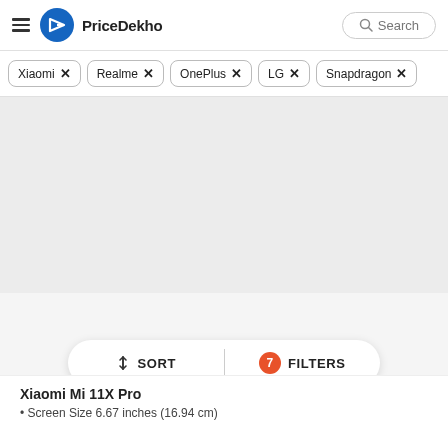PriceDekho
Xiaomi ×
Realme ×
OnePlus ×
LG ×
Snapdragon ×
↕ SORT   7 FILTERS
Xiaomi Mi 11X Pro
Screen Size 6.67 inches (16.94 cm)